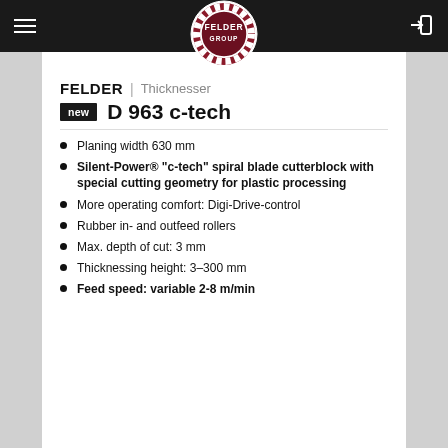[Figure (logo): Felder Group logo — circular badge with gear-like red and white border, dark red center with white text 'FELDER GROUP']
FELDER | Thicknesser
new D 963 c-tech
Planing width 630 mm
Silent-Power® "c-tech" spiral blade cutterblock with special cutting geometry for plastic processing
More operating comfort: Digi-Drive-control
Rubber in- and outfeed rollers
Max. depth of cut: 3 mm
Thicknessing height: 3–300 mm
Feed speed: variable 2-8 m/min